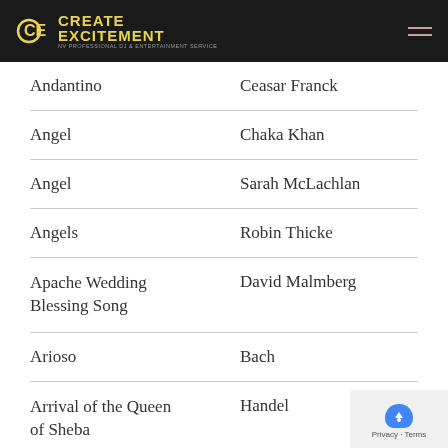Create Excitement - NV Professional DJ & Entertainment Service
| Song Title | Artist |
| --- | --- |
| Andantino | Ceasar Franck |
| Angel | Chaka Khan |
| Angel | Sarah McLachlan |
| Angels | Robin Thicke |
| Apache Wedding Blessing Song | David Malmberg |
| Arioso | Bach |
| Arrival of the Queen of Sheba | Handel |
| As Long as I Have You | Elvis Presley |